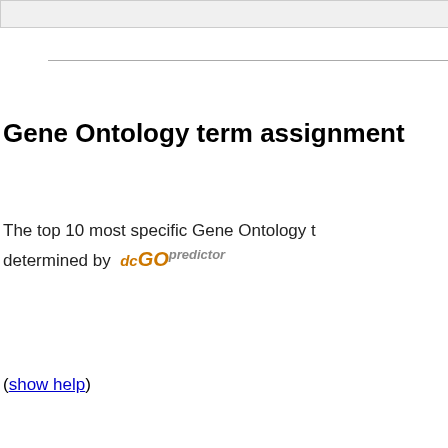Gene Ontology term assignment
The top 10 most specific Gene Ontology terms determined by dcGOpredictor
(show help)
| Molecular Function | Biological |
| --- | --- |
| Molecular Fu... |
| --- |
Protein sequence
|  |  |
| --- | --- |
| External link(s) | Protein: ENSPPYP00000015346
ENSPPYT00000015346 |
| Sequence length | 776 |
| Sequence... | ... |